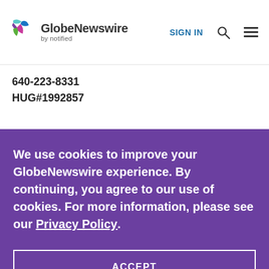[Figure (logo): GlobeNewswire by notified logo with colorful leaf/wing icon]
640-223-8331
HUG#1992857
We use cookies to improve your GlobeNewswire experience. By continuing, you agree to our use of cookies. For more information, please see our Privacy Policy.
ACCEPT